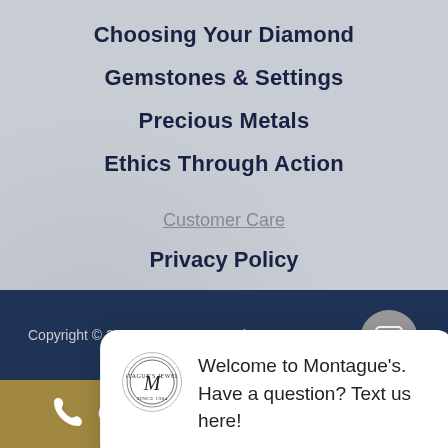Choosing Your Diamond
Gemstones & Settings
Precious Metals
Ethics Through Action
Customer Care
Privacy Policy
[Figure (screenshot): Chat popup with Montague's Jewelers logo and text: Welcome to Montague's. Have a question? Text us here!]
Copyright © 2021 [Montague's Jewelers]. All rights reserved.
Call Today! (406) 294-9370